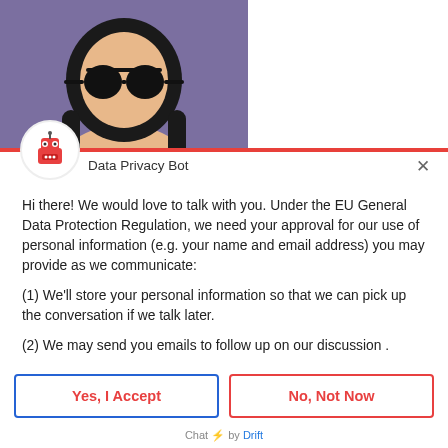[Figure (illustration): Cartoon avatar of a person with dark hair and round sunglasses on a purple background]
Data Privacy Bot
Hi there! We would love to talk with you. Under the EU General Data Protection Regulation, we need your approval for our use of personal information (e.g. your name and email address) you may provide as we communicate:
(1) We'll store your personal information so that we can pick up the conversation if we talk later.
(2) We may send you emails to follow up on our discussion .
Yes, I Accept
No, Not Now
Chat ⚡ by Drift